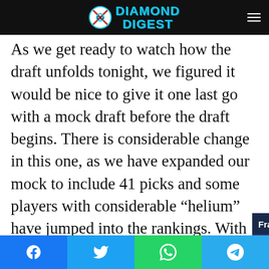Diamond Digest
As we get ready to watch how the draft unfolds tonight, we figured it would be nice to give it one last go with a mock draft before the draft begins. There is considerable change in this one, as we have expanded our mock to include 41 picks and some players with considerable “helium” have jumped into the rankings. With that being said, here are some notes to take in before we reveal ou…
[Figure (screenshot): Video overlay: Francona on 5-1 win over O's — baseball press conference video thumbnail showing a man in a Cleveland Guardians cap at a Progressive Field press backdrop]
1. The Baltimore … possibility of m…
Social share bar: Facebook, Twitter, WhatsApp, Telegram